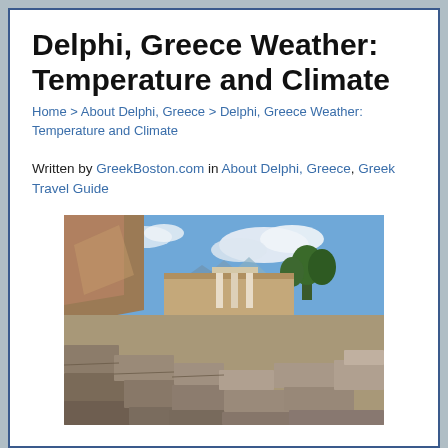Delphi, Greece Weather: Temperature and Climate
Home > About Delphi, Greece > Delphi, Greece Weather: Temperature and Climate
Written by GreekBoston.com in About Delphi, Greece, Greek Travel Guide
[Figure (photo): Photo of ancient ruins at Delphi, Greece, featuring the Tholos of Delphi (circular columns structure) in the background with rocky ruins in the foreground and mountains and blue sky with clouds behind.]